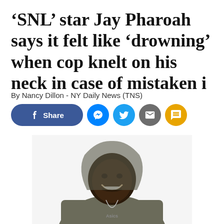‘SNL’ star Jay Pharoah says it felt like ‘drowning’ when cop knelt on his neck in case of mistaken i
By Nancy Dillon - NY Daily News (TNS)
[Figure (illustration): Social media share buttons: Facebook Share, Messenger, Twitter, Email, SMS]
[Figure (photo): Photo of Jay Pharoah, a Black man with a beard and mustache, smiling broadly, wearing a gray hoodie with a necklace, against a white background]